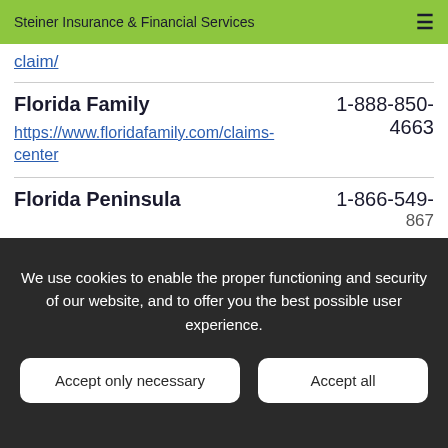Steiner Insurance & Financial Services
claim/
Florida Family
https://www.floridafamily.com/claims-center
1-888-850-4663
Florida Peninsula
1-866-549-8675
We use cookies to enable the proper functioning and security of our website, and to offer you the best possible user experience.
Accept only necessary
Accept all